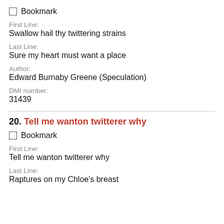Bookmark
First Line:
Swallow hail thy twittering strains
Last Line:
Sure my heart must want a place
Author:
Edward Burnaby Greene (Speculation)
DMI number:
31439
20. Tell me wanton twitterer why
Bookmark
First Line:
Tell me wanton twitterer why
Last Line:
Raptures on my Chloe's breast